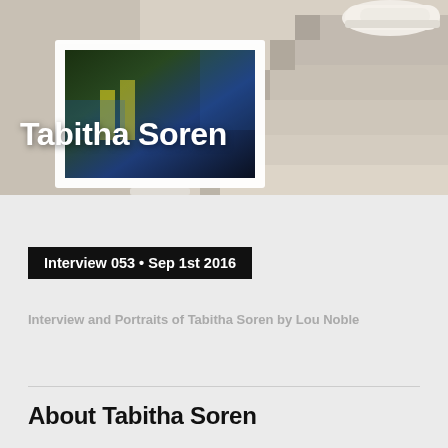[Figure (photo): Hero image showing a framed monitor/TV displaying an artwork or photo, placed on a light surface near stairs. A white sneaker is visible at the top right on a stair step. The background shows light wooden stair steps on the right side.]
Tabitha Soren
Interview 053 • Sep 1st 2016
Interview and Portraits of Tabitha Soren by Lou Noble
About Tabitha Soren